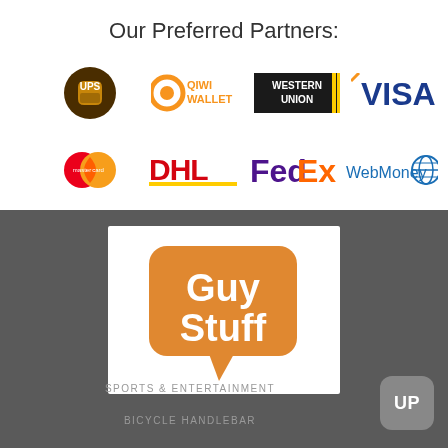Our Preferred Partners:
[Figure (logo): UPS logo - brown shield with UPS letters]
[Figure (logo): QIWI Wallet logo - orange Q circle with QIWI WALLET text]
[Figure (logo): Western Union logo - black rectangle with WESTERN UNION text]
[Figure (logo): VISA logo - blue VISA text with yellow swoosh]
[Figure (logo): MasterCard logo - overlapping red and orange circles]
[Figure (logo): DHL logo - red and yellow DHL text]
[Figure (logo): FedEx logo - purple and orange FedEx text]
[Figure (logo): WebMoney logo - blue WebMoney text with globe icon]
[Figure (logo): Guy Stuff logo - orange speech bubble with Guy Stuff text in white]
SPORTS & ENTERTAINMENT
BICYCLE HANDLEBAR